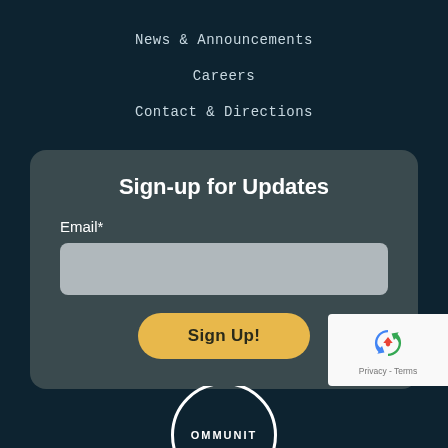News & Announcements
Careers
Contact & Directions
Sign-up for Updates
Email*
Sign Up!
[Figure (logo): reCAPTCHA badge with recycling arrows icon and Privacy - Terms text]
[Figure (logo): Circular community logo partially visible at bottom of page with text OMMUNIT]